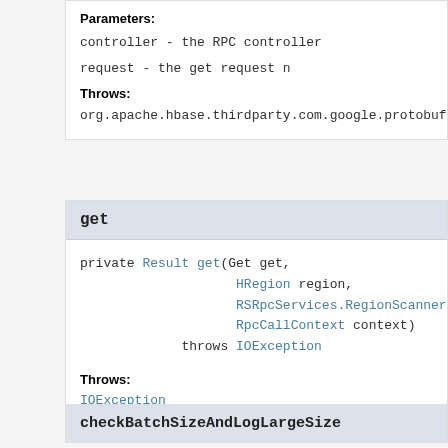Parameters:
controller - the RPC controller
request - the get request n
Throws:
org.apache.hbase.thirdparty.com.google.protobuf.S
get
private Result get(Get get,
                    HRegion region,
                    RSRpcServices.RegionScannersCl
                    RpcCallContext context)
           throws IOException
Throws:
IOException
checkBatchSizeAndLogLargeSize